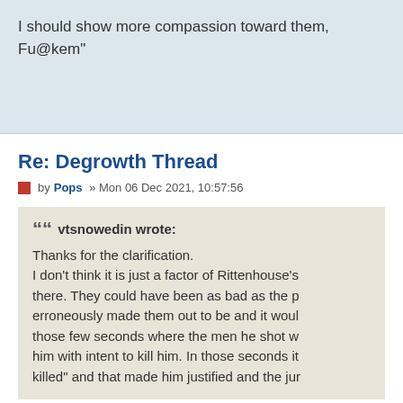I should show more compassion toward them, Fu@kem"
Re: Degrowth Thread
by Pops » Mon 06 Dec 2021, 10:57:56
vtsnowedin wrote: Thanks for the clarification. I don't think it is just a factor of Rittenhouse's there. They could have been as bad as the p erroneously made them out to be and it woul those few seconds where the men he shot w him with intent to kill him. In those seconds it killed" and that made him justified and the jur
I didn't say the verdict was incorrect.
When it's legal to carry anywhere, any time, an be disproven by the prosecutor, shootouts in th